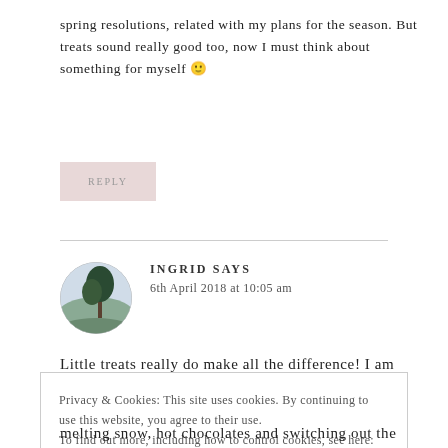spring resolutions, related with my plans for the season. But treats sound really good too, now I must think about something for myself 🙂
REPLY
INGRID SAYS
6th April 2018 at 10:05 am
Little treats really do make all the difference! I am
Privacy & Cookies: This site uses cookies. By continuing to use this website, you agree to their use. To find out more, including how to control cookies, see here: Cookie Policy
Close and accept
melting snow, hot chocolates and switching out the